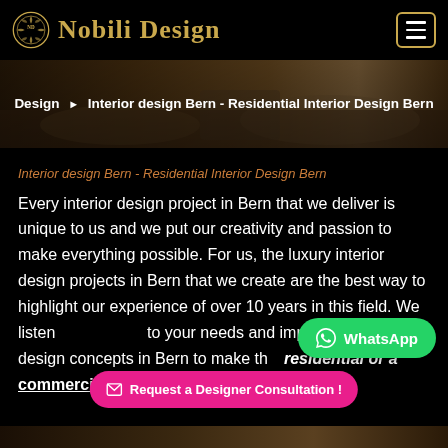Nobili Design
[Figure (screenshot): Breadcrumb banner with interior design background image showing luxury living room]
Design ▶ Interior design Bern - Residential Interior Design Bern
Interior design Bern - Residential Interior Design Bern
Every interior design project in Bern that we deliver is unique to us and we put our creativity and passion to make everything possible. For us, the luxury interior design projects in Bern that we create are the best way to highlight our experience of over 10 years in this field. We listen to your needs and implement interior design concepts in Bern to make this residential or a commercial interior design project.